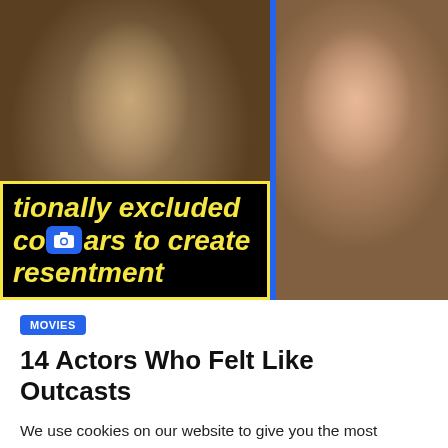[Figure (photo): Two side-by-side movie stills separated by a blue vertical divider. Left: close-up of a male actor with a serious expression. Right: close-up of a female actor looking to the side. Left image has a black overlay with yellow italic bold text partially reading 'tionally excluded co[camera icon]ars to create resentment'. Right image has a black overlay with pink italic bold text partially reading 'castmates ba... together to her fired'.]
MOVIES
14 Actors Who Felt Like Outcasts
We use cookies on our website to give you the most relevant experience by remembering your preferences and repeat visits. By clicking “Accept All”, you consent to the use of ALL the cookies. However, you may visit “Cookie Settings” to provide a controlled consent.